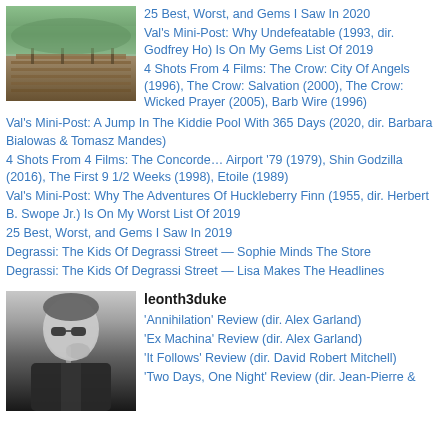[Figure (photo): Outdoor photo showing a wooden deck or boardwalk area with water or landscape in the background, green trees visible.]
25 Best, Worst, and Gems I Saw In 2020
Val's Mini-Post: Why Undefeatable (1993, dir. Godfrey Ho) Is On My Gems List Of 2019
4 Shots From 4 Films: The Crow: City Of Angels (1996), The Crow: Salvation (2000), The Crow: Wicked Prayer (2005), Barb Wire (1996)
Val's Mini-Post: A Jump In The Kiddie Pool With 365 Days (2020, dir. Barbara Bialowas & Tomasz Mandes)
4 Shots From 4 Films: The Concorde… Airport '79 (1979), Shin Godzilla (2016), The First 9 1/2 Weeks (1998), Etoile (1989)
Val's Mini-Post: Why The Adventures Of Huckleberry Finn (1955, dir. Herbert B. Swope Jr.) Is On My Worst List Of 2019
25 Best, Worst, and Gems I Saw In 2019
Degrassi: The Kids Of Degrassi Street — Sophie Minds The Store
Degrassi: The Kids Of Degrassi Street — Lisa Makes The Headlines
[Figure (photo): Black and white photo of a man wearing sunglasses, appearing to be thinking or reflecting with his hand near his face.]
leonth3duke
'Annihilation' Review (dir. Alex Garland)
'Ex Machina' Review (dir. Alex Garland)
'It Follows' Review (dir. David Robert Mitchell)
'Two Days, One Night' Review (dir. Jean-Pierre &